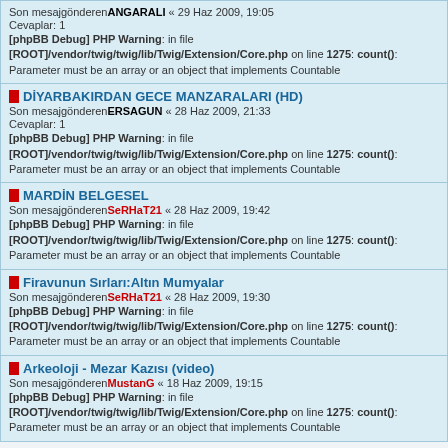Son mesajgönderenANGARALI « 29 Haz 2009, 19:05
Cevaplar: 1
[phpBB Debug] PHP Warning: in file [ROOT]/vendor/twig/twig/lib/Twig/Extension/Core.php on line 1275: count(): Parameter must be an array or an object that implements Countable
DİYARBAKIRDAN GECE MANZARALARI (HD)
Son mesajgönderenERSAGUN « 28 Haz 2009, 21:33
Cevaplar: 1
[phpBB Debug] PHP Warning: in file [ROOT]/vendor/twig/twig/lib/Twig/Extension/Core.php on line 1275: count(): Parameter must be an array or an object that implements Countable
MARDİN BELGESEL
Son mesajgönderenSeRHaT21 « 28 Haz 2009, 19:42
[phpBB Debug] PHP Warning: in file [ROOT]/vendor/twig/twig/lib/Twig/Extension/Core.php on line 1275: count(): Parameter must be an array or an object that implements Countable
Firavunun Sırları:Altın Mumyalar
Son mesajgönderenSeRHaT21 « 28 Haz 2009, 19:30
[phpBB Debug] PHP Warning: in file [ROOT]/vendor/twig/twig/lib/Twig/Extension/Core.php on line 1275: count(): Parameter must be an array or an object that implements Countable
Arkeoloji - Mezar Kazısı (video)
Son mesajgönderenMustanG « 18 Haz 2009, 19:15
[phpBB Debug] PHP Warning: in file [ROOT]/vendor/twig/twig/lib/Twig/Extension/Core.php on line 1275: count(): Parameter must be an array or an object that implements Countable
Yeni Başlık
Başlıkları okunmuş işaretle •33 başlık[phpBB Debug] PHP Warning: in file [ROOT]/vendor/twig/twig/lib/Twig/Extension/Core.php on line 1275: count(): Parameter must be an array or an object that implements Countable
•1. sayfa (Toplam 1 sayfa)